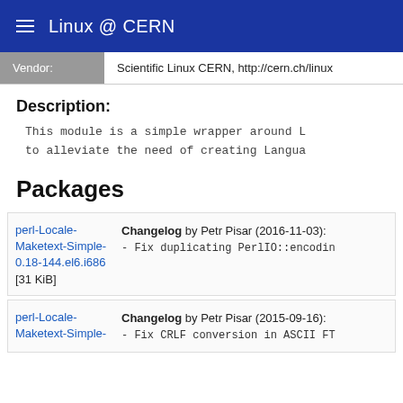Linux @ CERN
| Vendor: |  |
| --- | --- |
| Vendor: | Scientific Linux CERN, http://cern.ch/linux |
Description:
This module is a simple wrapper around L
to alleviate the need of creating Langua
Packages
perl-Locale-Maketext-Simple-0.18-144.el6.i686 [31 KiB] Changelog by Petr Pisar (2016-11-03): - Fix duplicating PerlIO::encodin
perl-Locale-Maketext-Simple- Changelog by Petr Pisar (2015-09-16): - Fix CRLF conversion in ASCII FT